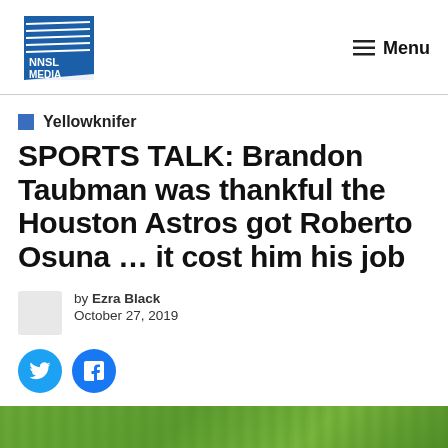NNSL MEDIA | Menu
Yellowknifer
SPORTS TALK: Brandon Taubman was thankful the Houston Astros got Roberto Osuna … it cost him his job
by Ezra Black
October 27, 2019
[Figure (photo): Green grass field, cropped at bottom of page]